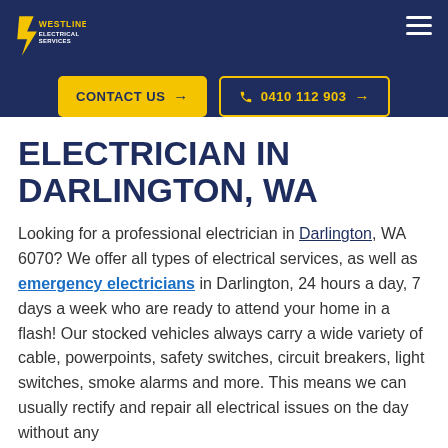[Figure (logo): Westline Electrical Services logo — yellow stylized W/lightning bolt mark with white text on dark navy background]
[Figure (other): Hamburger menu icon (three white horizontal lines) in top right corner]
[Figure (other): CONTACT US → yellow button and phone icon 0410 112 903 → outlined yellow button]
ELECTRICIAN IN DARLINGTON, WA
Looking for a professional electrician in Darlington, WA 6070? We offer all types of electrical services, as well as emergency electricians in Darlington, 24 hours a day, 7 days a week who are ready to attend your home in a flash! Our stocked vehicles always carry a wide variety of cable, powerpoints, safety switches, circuit breakers, light switches, smoke alarms and more. This means we can usually rectify and repair all electrical issues on the day without any